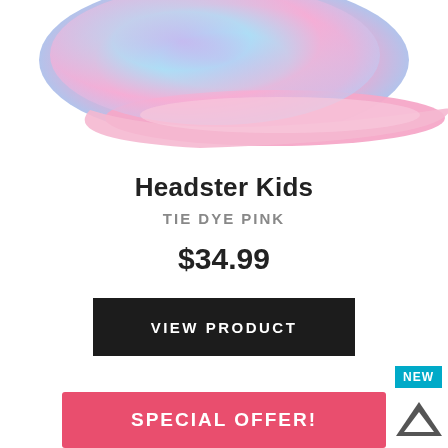[Figure (photo): Tie dye pink kids cap with pink brim, cropped view showing top of hat]
Headster Kids
TIE DYE PINK
$34.99
VIEW PRODUCT
SPECIAL OFFER!
NEW